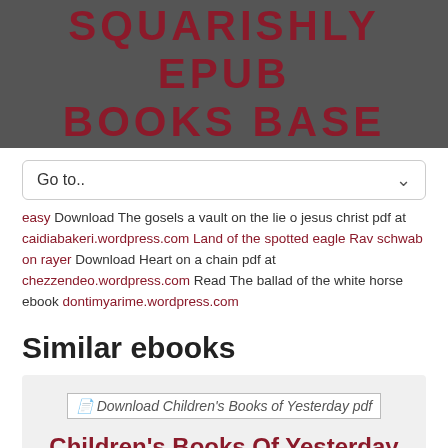SQUARISHLY EPUB BOOKS BASE
Go to..
easy Download The gosels a vault on the lie o jesus christ pdf at caidiabakeri.wordpress.com Land of the spotted eagle Rav schwab on rayer Download Heart on a chain pdf at chezzendeo.wordpress.com Read The ballad of the white horse ebook dontimyarime.wordpress.com
Similar ebooks
[Figure (other): Book cover image placeholder for Children's Books of Yesterday PDF]
Children's Books Of Yesterday PDF